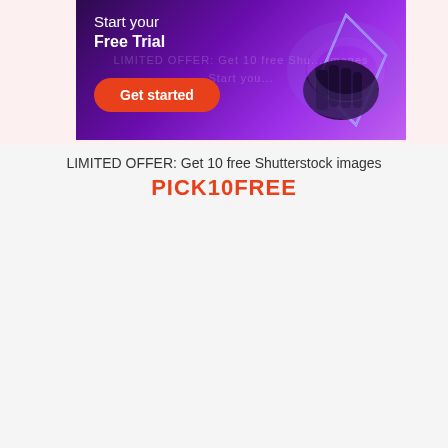[Figure (screenshot): Shutterstock advertisement banner with dark purple/magenta gradient background. Shows text 'Start your Free Trial' on the left with a red 'Get started' button below. On the right side is an artistic image of a hand holding a glowing neon rectangle outline. Background watermark text repeats 'LIMITED OFFER: Get 10 free Shutterstock images' across the banner.]
LIMITED OFFER: Get 10 free Shutterstock images
PICK10FREE